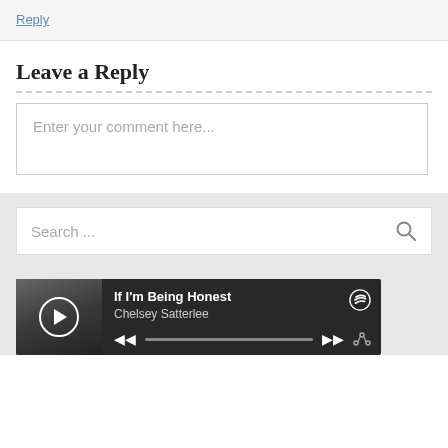Reply
Leave a Reply
Enter your comment here...
Search ...
[Figure (screenshot): Spotify player widget showing 'If I'm Being Honest' by Chelsey Satterlee with album art, play button, progress bar, and Spotify logo]